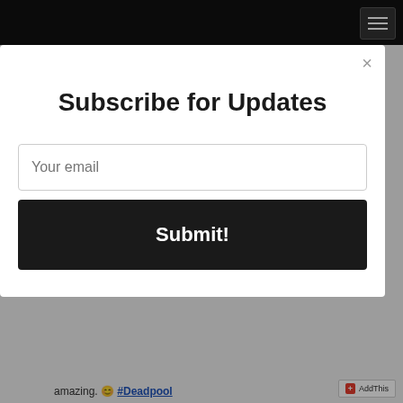SUBSCRIBE TO MY PODCAST
[Figure (logo): Available on Stitcher badge — black background with colored dots and STITCHER text]
[Figure (logo): Listen with RadioPublic badge — white background with red Rp icon]
Subscribe for Updates
Your email
Submit!
amazing. 😊 #Deadpool